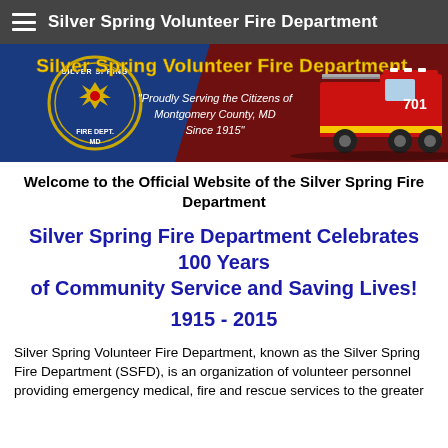Silver Spring Volunteer Fire Department
[Figure (illustration): Banner image for Silver Spring Volunteer Fire Department showing the department badge/shield on left, bold title 'Silver Spring Volunteer Fire Department' in yellow text on dark red background, italic text 'Proudly Serving the Citizens of Montgomery County, MD Since 1915' in center, and a red fire truck on the right side.]
Welcome to the Official Website of the Silver Spring Fire Department
Silver Spring Fire Department Celebrates 100 Years of Community Service and Saving Lives!
1915 - 2015
Silver Spring Volunteer Fire Department, known as the Silver Spring Fire Department (SSFD), is an organization of volunteer personnel providing emergency medical, fire and rescue services to the greater